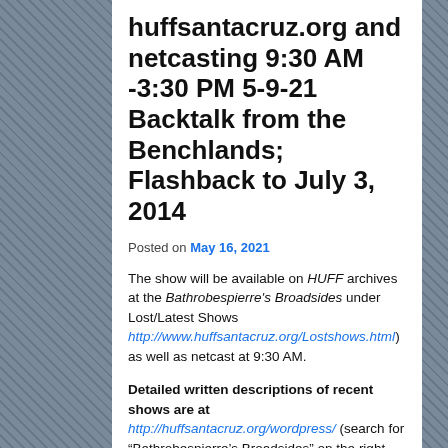huffsantacruz.org and netcasting 9:30 AM -3:30 PM 5-9-21 Backtalk from the Benchlands; Flashback to July 3, 2014
Posted on May 16, 2021
The show will be available on HUFF archives at the Bathrobespierre's Broadsides under Lost/Latest Shows http://www.huffsantacruz.org/Lostshows.html) as well as netcast at 9:30 AM.
Detailed written descriptions of recent shows are at http://huffsantacruz.org/wordpress/ (search for “Bathrobespierre’s Broadsides” on the right side of the screen). Many older audio archives are described and currently available at http://www.huffsantacruz.org/brb-descriptions.html . Commentary by Ursula and more detailed